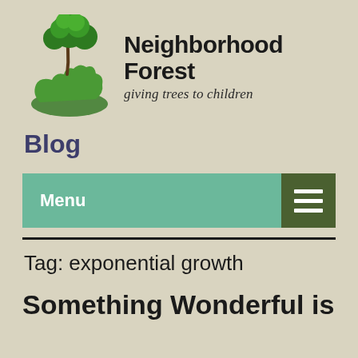[Figure (logo): Neighborhood Forest logo: green tree growing from an open hand, with site name 'Neighborhood Forest' and tagline 'giving trees to children']
Blog
Menu
Tag: exponential growth
Something Wonderful is